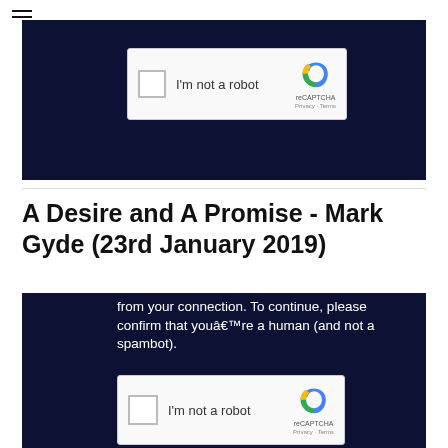[Figure (screenshot): Screenshot of a reCAPTCHA widget (top, partially visible) on a dark navy background]
A Desire and A Promise - Mark Gyde (23rd January 2019)
[Figure (screenshot): Screenshot of a CAPTCHA verification page on dark navy background with text 'from your connection. To continue, please confirm that youâ€™re a human (and not a spambot).' and a reCAPTCHA widget below]